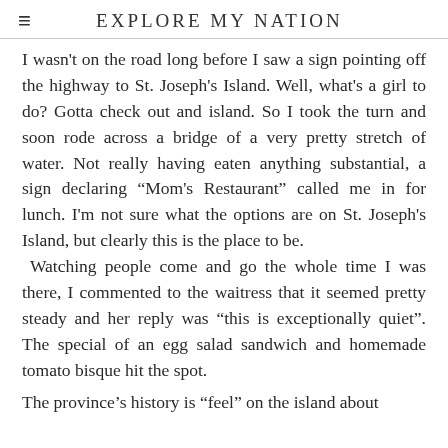EXPLORE MY NATION
I wasn't on the road long before I saw a sign pointing off the highway to St. Joseph's Island. Well, what's a girl to do? Gotta check out and island. So I took the turn and soon rode across a bridge of a very pretty stretch of water. Not really having eaten anything substantial, a sign declaring “Mom's Restaurant” called me in for lunch. I'm not sure what the options are on St. Joseph's Island, but clearly this is the place to be. Watching people come and go the whole time I was there, I commented to the waitress that it seemed pretty steady and her reply was “this is exceptionally quiet”. The special of an egg salad sandwich and homemade tomato bisque hit the spot.
The province's history is “feel” on the island about...